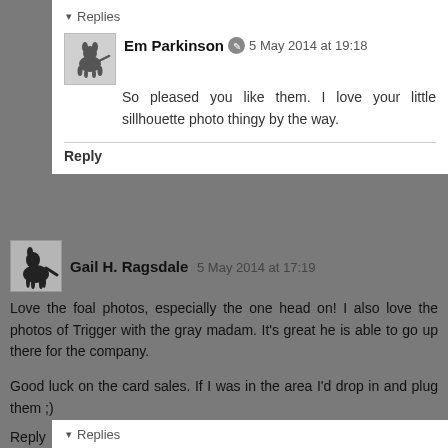▾ Replies
Em Parkinson  5 May 2014 at 19:18
So pleased you like them. I love your little sillhouette photo thingy by the way.
Reply
Gail H. Ragsdale  5 May 2014 at 17:19
Love the foal photos, especially the one head on! I also love the photos of Trigger with the gray madam. It's great he is able to go up there for the company.

Good luck on the card sales. If I was in the area I'd drop in and plug them ;)
Reply
▾ Replies